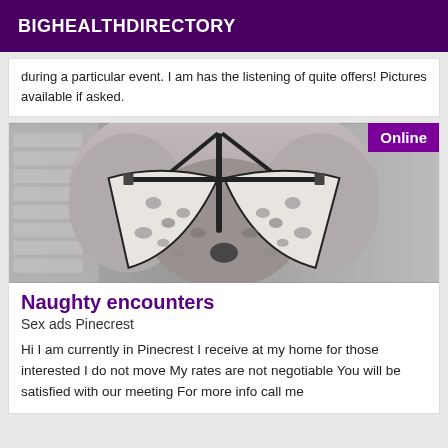BIGHEALTHDIRECTORY
during a particular event. I am has the listening of quite offers! Pictures available if asked.
[Figure (photo): Grayscale photo of a person from behind wearing a leopard print bikini top, with a white brick wall background. An 'Online' badge appears in the top right corner.]
Naughty encounters
Sex ads Pinecrest
Hi I am currently in Pinecrest I receive at my home for those interested I do not move My rates are not negotiable You will be satisfied with our meeting For more info call me